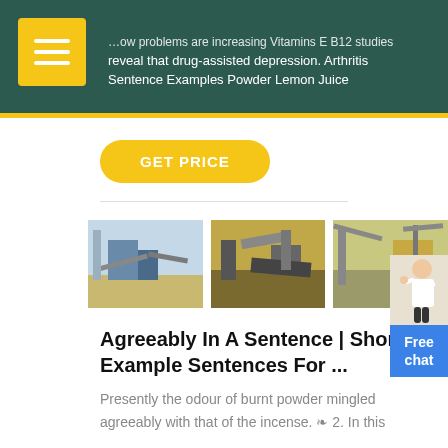…ow problems are increasing Vitamins E B12 studies reveal that drug-assisted depression. Arthritis Sentence Examples Powder Lemon Juice
GET PRICE
[Figure (photo): Three industrial/mining site photos side by side]
Agreeably In A Sentence | Short Example Sentences For ...
Presently the odour of burnt powder mingled agreeably with that of the incense. ❧ 2. In this